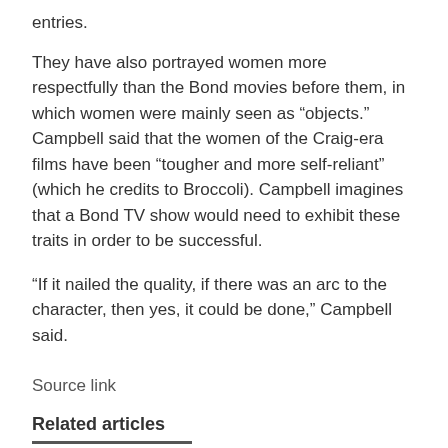entries.
They have also portrayed women more respectfully than the Bond movies before them, in which women were mainly seen as “objects.” Campbell said that the women of the Craig-era films have been “tougher and more self-reliant” (which he credits to Broccoli). Campbell imagines that a Bond TV show would need to exhibit these traits in order to be successful.
“If it nailed the quality, if there was an arc to the character, then yes, it could be done,” Campbell said.
Source link
Related articles